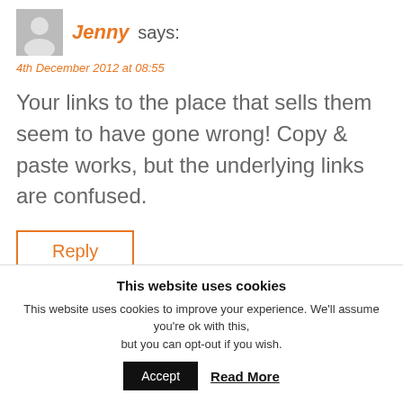Jenny says:
4th December 2012 at 08:55
Your links to the place that sells them seem to have gone wrong! Copy & paste works, but the underlying links are confused.
Reply
Get Lippie says:
This website uses cookies
This website uses cookies to improve your experience. We'll assume you're ok with this, but you can opt-out if you wish.
Accept
Read More